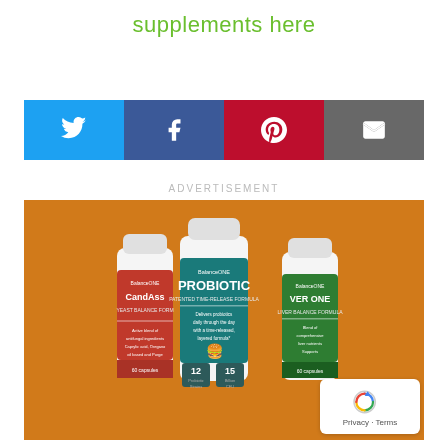supplements here
[Figure (infographic): Social share buttons: Twitter (blue), Facebook (dark blue), Pinterest (red), Email (grey)]
ADVERTISEMENT
[Figure (photo): Advertisement banner with orange background showing three supplement bottles: CandAssist, Probiotic (Balance One, timed-release formula, 12 strains, 15 billion CFU), and Liver One]
Privacy · Terms